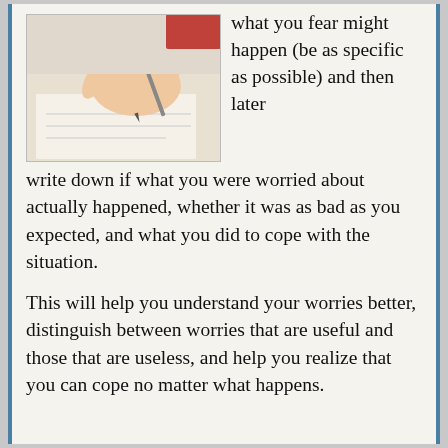[Figure (photo): A close-up photo of a hand holding a pen and writing on paper.]
what you fear might happen (be as specific as possible) and then later write down if what you were worried about actually happened, whether it was as bad as you expected, and what you did to cope with the situation.
This will help you understand your worries better, distinguish between worries that are useful and those that are useless, and help you realize that you can cope no matter what happens.